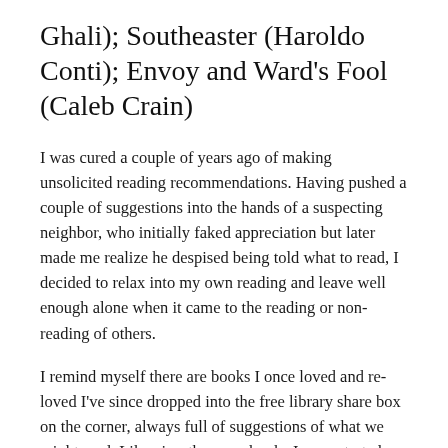Ghali); Southeaster (Haroldo Conti); Envoy and Ward's Fool (Caleb Crain)
I was cured a couple of years ago of making unsolicited reading recommendations. Having pushed a couple of suggestions into the hands of a suspecting neighbor, who initially faked appreciation but later made me realize he despised being told what to read, I decided to relax into my own reading and leave well enough alone when it came to the reading or non-reading of others.
I remind myself there are books I once loved and re-loved I've since dropped into the free library share box on the corner, always full of suggestions of what we might read. Likewise, there are books I once started reading but could not “get into,” as the old reading saying goes, but on a later look did fall incomprehensibly in love with, which is to say reading is not always placed before, but sometimes